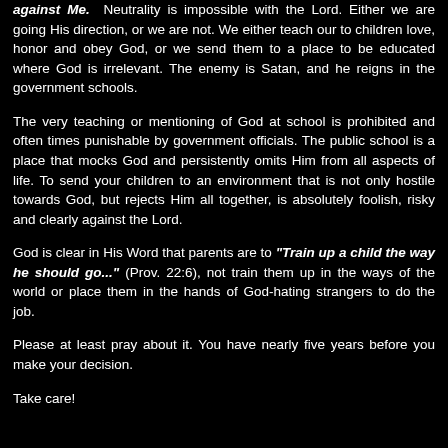against Me. Neutrality is impossible with the Lord. Either we are going His direction, or we are not. We either teach our to children love, honor and obey God, or we send them to a place to be educated where God is irrelevant. The enemy is Satan, and he reigns in the government schools.
The very teaching or mentioning of God at school is prohibited and often times punishable by government officials. The public school is a place that mocks God and persistently omits Him from all aspects of life. To send your children to an environment that is not only hostile towards God, but rejects Him all together, is absolutely foolish, risky and clearly against the Lord.
God is clear in His Word that parents are to "Train up a child the way he should go..." (Prov. 22:6), not train them up in the ways of the world or place them in the hands of God-hating strangers to do the job.
Please at least pray about it. You have nearly five years before you make your decision.
Take care!